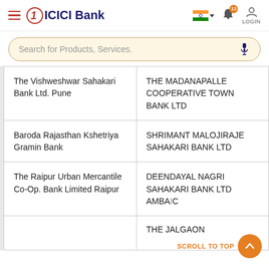ICICI Bank
Search for Products, Services.
|  |  |
| --- | --- |
| The Vishweshwar Sahakari Bank Ltd. Pune | THE MADANAPALLE COOPERATIVE TOWN BANK LTD |
| Baroda Rajasthan Kshetriya Gramin Bank | SHRIMANT MALOJIRAJE SAHAKARI BANK LTD |
| The Raipur Urban Mercantile Co-Op. Bank Limited Raipur | DEENDAYAL NAGRI SAHAKARI BANK LTD AMBAJOGAI |
|  | THE JALGAON |